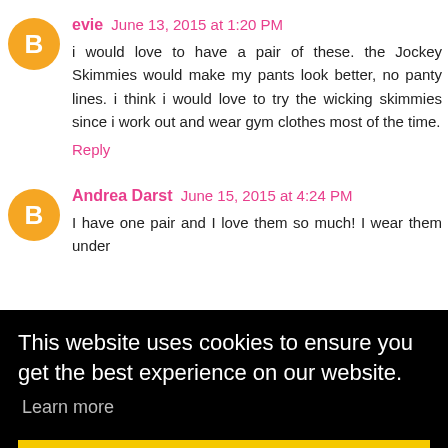evie June 13, 2015 at 1:20 PM
i would love to have a pair of these. the Jockey Skimmies would make my pants look better, no panty lines. i think i would love to try the wicking skimmies since i work out and wear gym clothes most of the time.
Reply
Andrea Darst June 15, 2015 at 4:24 PM
I have one pair and I love them so much! I wear them under me from of my
This website uses cookies to ensure you get the best experience on our website.
Learn more
Got it!
tweeted:
https://twitter.com/adarst210/status/610048002000141570